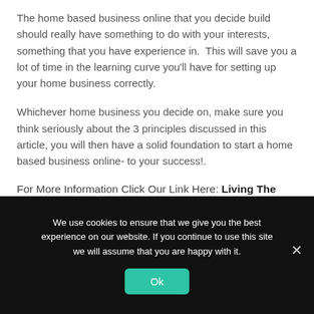The home based business online that you decide build should really have something to do with your interests, something that you have experience in.  This will save you a lot of time in the learning curve you'll have for setting up your home business correctly.
Whichever home business you decide on, make sure you think seriously about the 3 principles discussed in this article, you will then have a solid foundation to start a home based business online- to your success!.
For More Information Click Our Link Here: Living The Internet Lifestyle
We use cookies to ensure that we give you the best experience on our website. If you continue to use this site we will assume that you are happy with it.